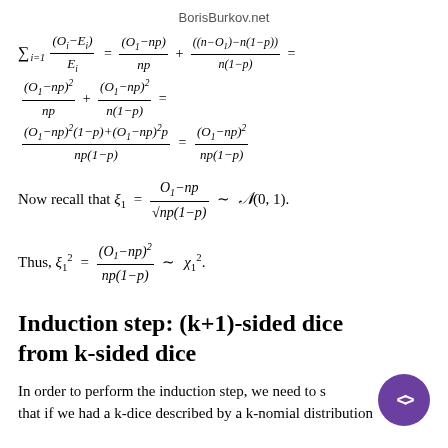BorisBurkov.net
Induction step: (k+1)-sided dice from k-sided dice
In order to perform the induction step, we need to show that if we had a k-dice described by a k-nomial distribution